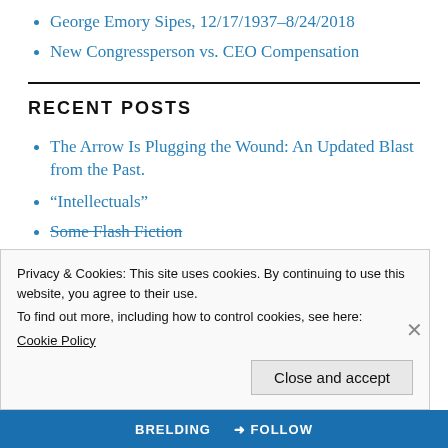George Emory Sipes, 12/17/1937–8/24/2018
New Congressperson vs. CEO Compensation
RECENT POSTS
The Arrow Is Plugging the Wound: An Updated Blast from the Past.
“Intellectuals”
Some Flash Fiction
Privacy & Cookies: This site uses cookies. By continuing to use this website, you agree to their use.
To find out more, including how to control cookies, see here:
Cookie Policy
Close and accept